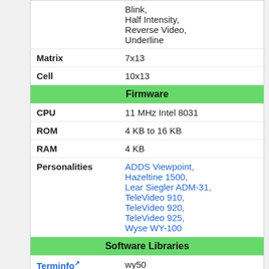| Property | Value |
| --- | --- |
|  | Blink,
Half Intensity,
Reverse Video,
Underline |
| Matrix | 7x13 |
| Cell | 10x13 |
| Firmware |  |
| CPU | 11 MHz Intel 8031 |
| ROM | 4 KB to 16 KB |
| RAM | 4 KB |
| Personalities | ADDS Viewpoint,
Hazeltine 1500,
Lear Siegler ADM-31,
TeleVideo 910,
TeleVideo 920,
TeleVideo 925,
Wyse WY-100 |
| Software Libraries |  |
| Terminfo Name | wy50 |